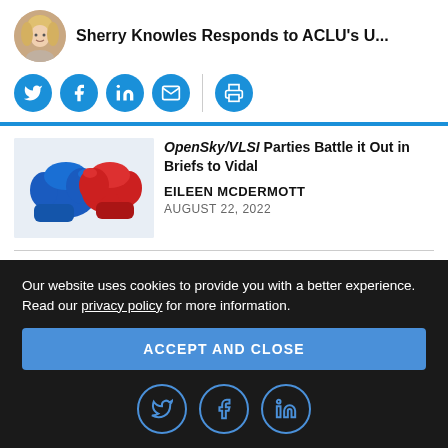Sherry Knowles Responds to ACLU's U...
[Figure (illustration): Social sharing icons: Twitter, Facebook, LinkedIn, Email, Print buttons as blue circles]
[Figure (photo): Blue and red boxing gloves facing each other]
OpenSky/VLSI Parties Battle it Out in Briefs to Vidal
EILEEN MCDERMOTT
AUGUST 22, 2022
Our website uses cookies to provide you with a better experience. Read our privacy policy for more information.
ACCEPT AND CLOSE